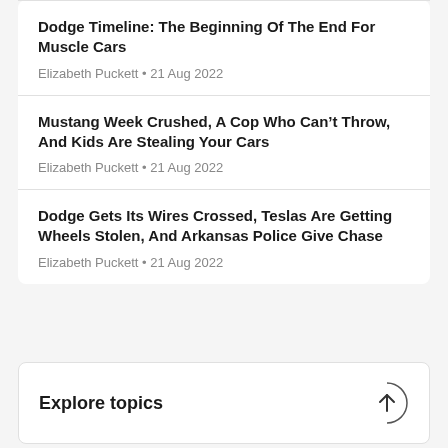Dodge Timeline: The Beginning Of The End For Muscle Cars
Elizabeth Puckett • 21 Aug 2022
Mustang Week Crushed, A Cop Who Can't Throw, And Kids Are Stealing Your Cars
Elizabeth Puckett • 21 Aug 2022
Dodge Gets Its Wires Crossed, Teslas Are Getting Wheels Stolen, And Arkansas Police Give Chase
Elizabeth Puckett • 21 Aug 2022
Explore topics